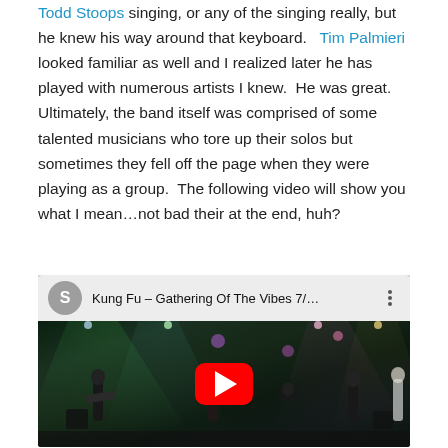Todd Stoops singing, or any of the singing really, but he knew his way around that keyboard.   Tim Palmieri looked familiar as well and I realized later he has played with numerous artists I knew.  He was great.  Ultimately, the band itself was comprised of some talented musicians who tore up their solos but sometimes they fell off the page when they were playing as a group.  The following video will show you what I mean…not bad their at the end, huh?
[Figure (screenshot): YouTube video embed showing 'Kung Fu - Gathering Of The Vibes 7/...' with a band performing on stage with dramatic lighting. A red YouTube play button is centered on the video thumbnail.]